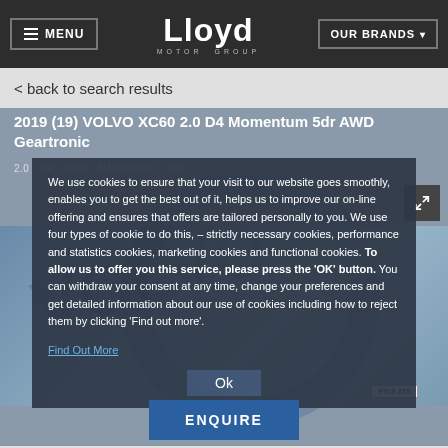MENU | Lloyd Motor Group | OUR BRANDS
< back to search results
2019 (19) VOLVO XC60 2.0 D4 Momentum 5dr AWD Geartronic
We use cookies to ensure that your visit to our website goes smoothly, enables you to get the best out of it, helps us to improve our on-line offering and ensures that offers are tailored personally to you. We use four types of cookie to do this, – strictly necessary cookies, performance and statistics cookies, marketing cookies and functional cookies. To allow us to offer you this service, please press the 'OK' button. You can withdraw your consent at any time, change your preferences and get detailed information about our use of cookies including how to reject them by clicking 'Find out more'.
Find Out More
Ok
ENQUIRE